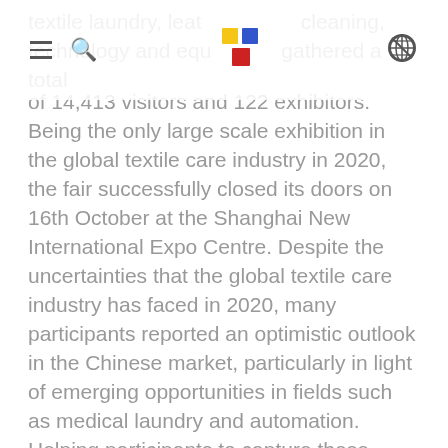[Navigation bar with hamburger menu, search icon, logo, and globe icon]
textile laundry, leather care, cleaning, technology and equipment gathered a total of 14,413 visitors and 122 exhibitors. Being the only large scale exhibition in the global textile care industry in 2020, the fair successfully closed its doors on 16th October at the Shanghai New International Expo Centre. Despite the uncertainties that the global textile care industry has faced in 2020, many participants reported an optimistic outlook in the Chinese market, particularly in light of emerging opportunities in fields such as medical laundry and automation. Helping participants to capture these opportunities, the three-day fair presented the latest technologies and products from the textile care industry and